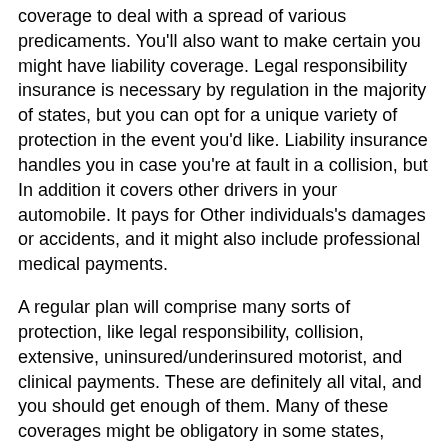coverage to deal with a spread of various predicaments. You'll also want to make certain you might have liability coverage. Legal responsibility insurance is necessary by regulation in the majority of states, but you can opt for a unique variety of protection in the event you'd like. Liability insurance handles you in case you're at fault in a collision, but In addition it covers other drivers in your automobile. It pays for Other individuals's damages or accidents, and it might also include professional medical payments.
A regular plan will comprise many sorts of protection, like legal responsibility, collision, extensive, uninsured/underinsured motorist, and clinical payments. These are definitely all vital, and you should get enough of them. Many of these coverages might be obligatory in some states, while others may well not. To find the finest car insurance policies protection for your needs, take a look at a internet site such as Freeway Insurance. You will find lots of protection alternatives and conserve time and cash.